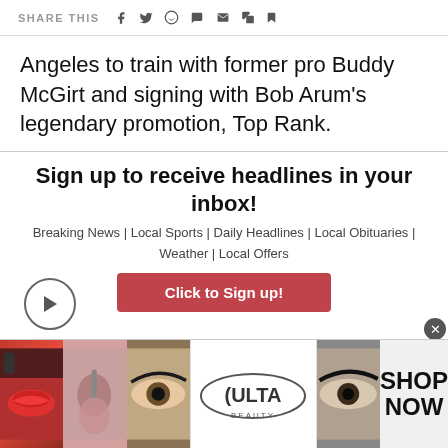SHARE THIS [social icons]
Angeles to train with former pro Buddy McGirt and signing with Bob Arum's legendary promotion, Top Rank.
Sign up to receive headlines in your inbox!
Breaking News | Local Sports | Daily Headlines | Local Obituaries | Weather | Local Offers
Click to Sign up!
[Figure (photo): Advertisement banner with beauty/makeup images and ULTA beauty logo with SHOP NOW text]